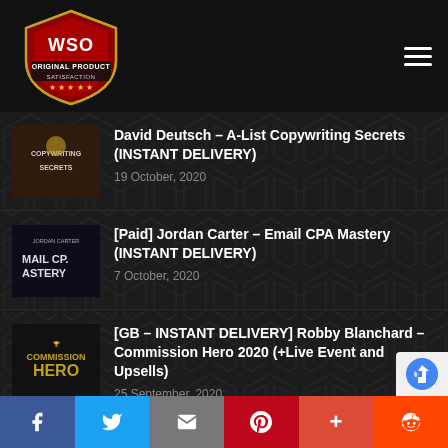[Figure (logo): WSO Original Product Satisfaction shield logo with stars]
David Deutsch – A-List Copywriting Secrets (INSTANT DELIVERY)
19 October, 2020
[Paid] Jordan Carter – Email CPA Mastery (INSTANT DELIVERY)
7 October, 2020
[GB – INSTANT DELIVERY] Robby Blanchard – Commission Hero 2020 (+Live Event and Upsells)
25 September, 2020